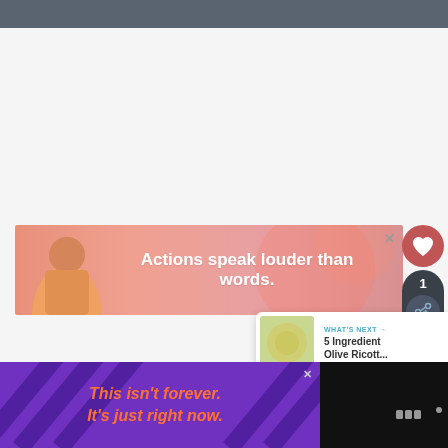[Figure (screenshot): Dark gray top navigation bar of a website]
[Figure (infographic): Pink advertisement banner with silhouette of a man in yellow jacket, text: Actions speak louder than words. X close button in top right.]
[Figure (infographic): Coral/red circular like button with heart icon]
[Figure (infographic): Dark share button area showing count of 1 and share icon]
[Figure (infographic): What's Next card showing 5 Ingredient Olive Ricott... with thumbnail]
[Figure (logo): Tastemade logo in dark gray dots]
[Figure (infographic): Purple advertisement banner at bottom with orange italic text: This isn't forever. It's just right now. with diagonal stripes and X close button]
[Figure (logo): Tastemade logo in lighter gray]